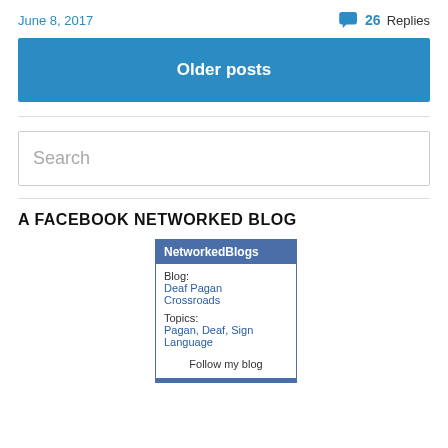June 8, 2017
26 Replies
Older posts
Search
A FACEBOOK NETWORKED BLOG
[Figure (screenshot): NetworkedBlogs widget showing Blog: Deaf Pagan Crossroads, Topics: Pagan, Deaf, Sign Language, with a Follow my blog link]